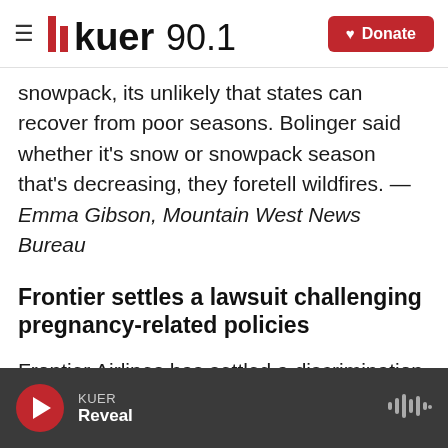KUER 90.1 — Donate
snowpack, its unlikely that states can recover from poor seasons. Bolinger said whether it's snow or snowpack season that's decreasing, they foretell wildfires. — Emma Gibson, Mountain West News Bureau
Frontier settles a lawsuit challenging pregnancy-related policies
Frontier Airlines has settled a discrimination suit brought by a group of flight attendants who alleged Frontier forced them to take unpaid leave for pregnancy-related absences and did not make it possible for them to pump
KUER — Reveal